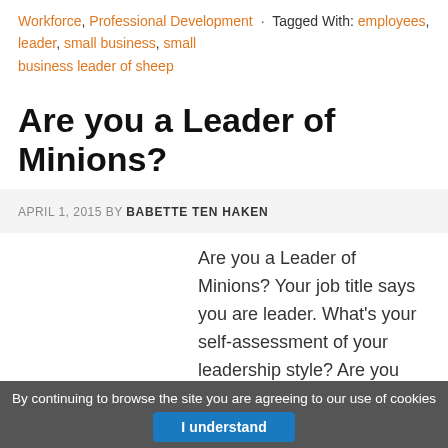Workforce, Professional Development · Tagged With: employees, leader, small business, small business leader of sheep
Are you a Leader of Minions?
APRIL 1, 2015 BY BABETTE TEN HAKEN
Are you a Leader of Minions? Your job title says you are leader. What's your self-assessment of your leadership style? Are you
By continuing to browse the site you are agreeing to our use of cookies